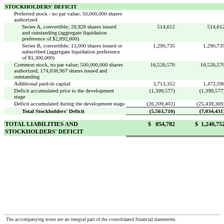|  | Col1 | Col2 |
| --- | --- | --- |
| STOCKHOLDERS' DEFICIT |  |  |
| Preferred stock - no par value; 50,000,000 shares authorized |  |  |
| Series A, convertible; 28,928 shares issued and outstanding (aggregate liquidation preference of $2,892,800) | 514,612 | 514,612 |
| Series B, convertible; 13,000 shares issued or subscribed (aggregate liquidation preference of $1,300,000) | 1,290,735 | 1,290,735 |
| Common stock, no par value; 500,000,000 shares authorized; 174,838,967 shares issued and outstanding | 16,526,570 | 16,526,570 |
| Additional paid-in capital | 3,713,352 | 1,472,598 |
| Deficit accumulated prior to the development stage | (1,399,577) | (1,399,577) |
| Deficit accumulated during the development stage | (26,209,402) | (25,439,369) |
| Total Stockholders' Deficit | (5,563,710) | (7,034,431) |
| TOTAL LIABILITIES AND STOCKHOLDERS' DEFICIT | $ 854,782 | $ 1,240,752 |
The accompanying notes are an integral part of the consolidated financial statements.